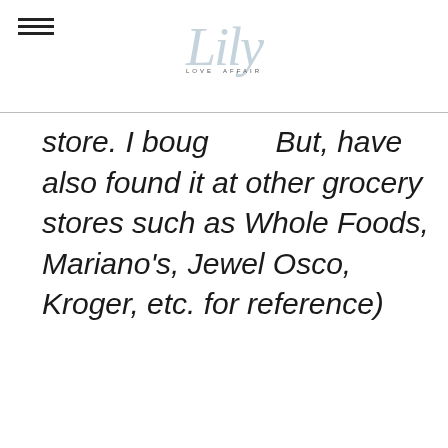[Figure (logo): Lily Love Affair blog logo with decorative italic script 'Lily' in light blue-grey and 'LOVE AFFAIR' in small caps below]
store. I boug  But, have also found it at other grocery stores such as Whole Foods, Mariano's, Jewel Osco, Kroger, etc. for reference)